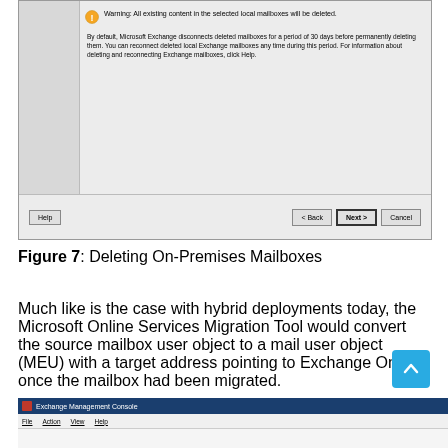[Figure (screenshot): Windows dialog box showing a warning about deleting local mailboxes. Warning text: 'Warning: All existing content in the selected local mailboxes will be deleted.' Followed by text about Microsoft Exchange disconnecting deleted mailboxes for 30 days. Buttons at bottom: Help, < Back, Next >, Cancel.]
Figure 7: Deleting On-Premises Mailboxes
Much like is the case with hybrid deployments today, the Microsoft Online Services Migration Tool would convert the source mailbox user object to a mail user object (MEU) with a target address pointing to Exchange Online once the mailbox had been migrated.
[Figure (screenshot): Exchange Management Console window title bar and menu bar visible at the bottom of the page.]